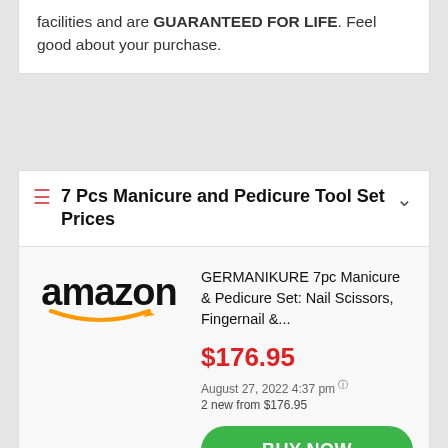facilities and are GUARANTEED FOR LIFE. Feel good about your purchase.
7 Pcs Manicure and Pedicure Tool Set Prices
[Figure (logo): Amazon logo with orange smile arrow]
GERMANIKURE 7pc Manicure & Pedicure Set: Nail Scissors, Fingernail &...
$176.95
August 27, 2022 4:37 pm ® 2 new from $176.95
BUY NOW